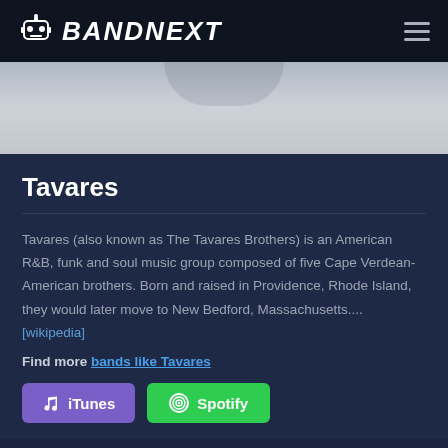BANDNEXT
[Figure (photo): Partial image of a metallic/silver object, showing a curved bump shape at the top, with a grey gradient background]
Tavares
Tavares (also known as The Tavares Brothers) is an American R&B, funk and soul music group composed of five Cape Verdean-American brothers. Born and raised in Providence, Rhode Island, they would later move to New Bedford, Massachusetts.... [wikipedia]
Find more bands like Tavares
iTunes  Spotify